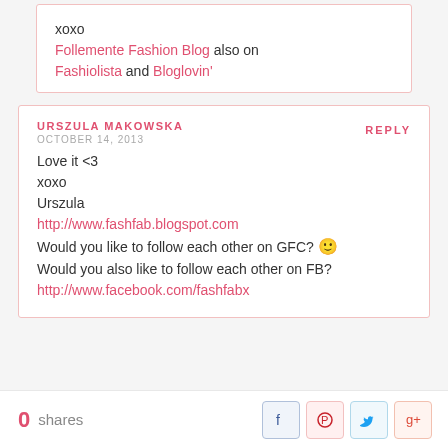xoxo Follemente Fashion Blog also on Fashiolista and Bloglovin'
URSZULA MAKOWSKA
OCTOBER 14, 2013

Love it <3
xoxo
Urszula
http://www.fashfab.blogspot.com
Would you like to follow each other on GFC? 🙂
Would you also like to follow each other on FB?
http://www.facebook.com/fashfabx
0 shares